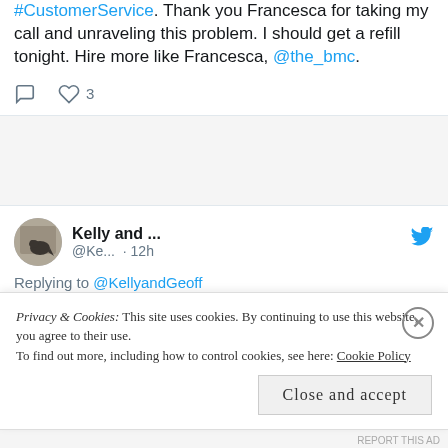#CustomerService. Thank you Francesca for taking my call and unraveling this problem. I should get a refill tonight. Hire more like Francesca, @the_bmc.
[Figure (screenshot): Twitter/social media post by Kelly and ... (@Ke... · 12h), replying to @KellyandGeoff. Text: I have requested a refill of my old med, which new insurance will cover, likewise, no response. Old...]
Privacy & Cookies: This site uses cookies. By continuing to use this website, you agree to their use.
To find out more, including how to control cookies, see here: Cookie Policy